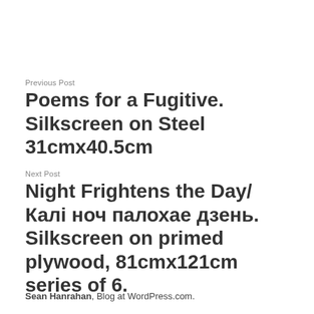Previous Post
Poems for a Fugitive. Silkscreen on Steel 31cmx40.5cm
Next Post
Night Frightens the Day/Калі ноч палохае дзень. Silkscreen on primed plywood, 81cmx121cm series of 6.
Sean Hanrahan, Blog at WordPress.com.